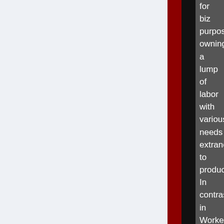for biz purposes owning a lump of labor with various needs extraneous to production. In contrast, in Worker Capitalism, each individual worker is expected